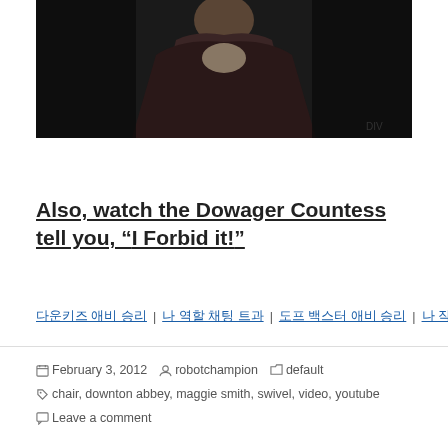[Figure (photo): Dark photo of a woman in Victorian/Edwardian-era dark robes with lace details, likely a scene from Downton Abbey]
Also, watch the Dowager Countess tell you, “I Forbid it!”
Korean text links (navigation/related links)
February 3, 2012  robotchampion  default  chair, downton abbey, maggie smith, swivel, video, youtube  Leave a comment